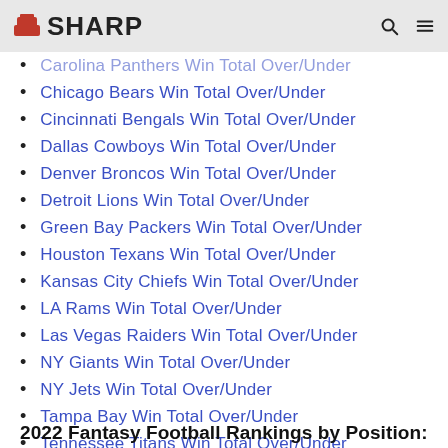SHARP
Carolina Panthers Win Total Over/Under
Chicago Bears Win Total Over/Under
Cincinnati Bengals Win Total Over/Under
Dallas Cowboys Win Total Over/Under
Denver Broncos Win Total Over/Under
Detroit Lions Win Total Over/Under
Green Bay Packers Win Total Over/Under
Houston Texans Win Total Over/Under
Kansas City Chiefs Win Total Over/Under
LA Rams Win Total Over/Under
Las Vegas Raiders Win Total Over/Under
NY Giants Win Total Over/Under
NY Jets Win Total Over/Under
Tampa Bay Win Total Over/Under
Tennessee Titans Win Total Over/Under
2022 Fantasy Football Rankings by Position: